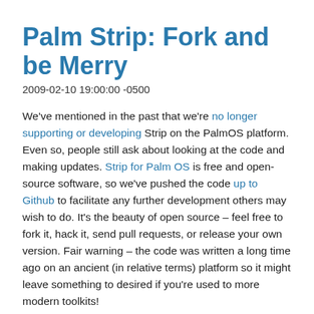Palm Strip: Fork and be Merry
2009-02-10 19:00:00 -0500
We've mentioned in the past that we're no longer supporting or developing Strip on the PalmOS platform. Even so, people still ask about looking at the code and making updates. Strip for Palm OS is free and open-source software, so we've pushed the code up to Github to facilitate any further development others may wish to do. It's the beauty of open source – feel free to fork it, hack it, send pull requests, or release your own version. Fair warning – the code was written a long time ago on an ancient (in relative terms) platform so it might leave something to desired if you're used to more modern toolkits!